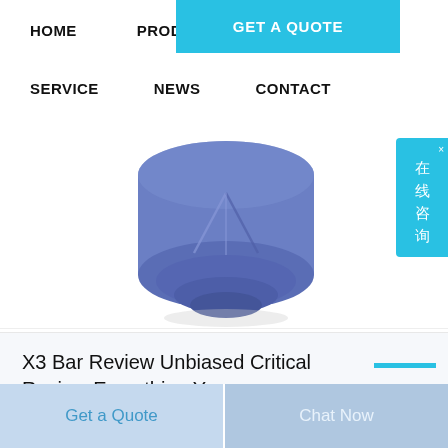HOME   PRODUCTS   ABOUT   GET A QUOTE   SERVICE   NEWS   CONTACT
[Figure (photo): Blue cylindrical plastic capsule or cap component, viewed from slightly above, on white background]
X3 Bar Review Unbiased Critical Review Everything You
Get a Quote   Chat Now